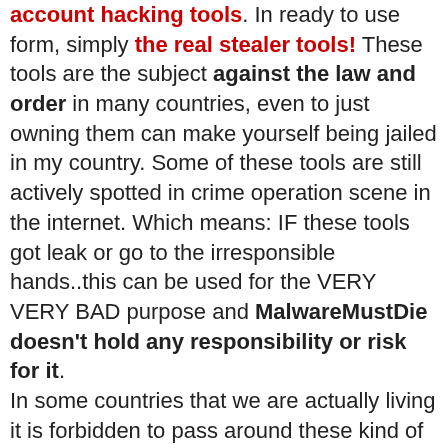account hacking tools. In ready to use form, simply the real stealer tools! These tools are the subject against the law and order in many countries, even to just owning them can make yourself being jailed in my country. Some of these tools are still actively spotted in crime operation scene in the internet. Which means: IF these tools got leak or go to the irresponsible hands..this can be used for the VERY VERY BAD purpose and MalwareMustDie doesn't hold any responsibility or risk for it. In some countries that we are actually living it is forbidden to pass around these kind of tools w/o strict permission to the appointed limited entities only. So we are sorry for the bummer to the researcher friends, we do want to share everything, but in this case we have to do it right. If you eager to have these materials, please kindly contact to your known security entity to contact us for you then we can discuss the legit possibility for the purpose. Why did we post here and announce "the sharing" then? Because in reality there are many security legit entity which haven't seen these materials that actually being used by a cyber crime member, the knowledge and this awareness is a must share (to entities and to user level). We are trying to do that right here, with responsibility. So we assure you, we